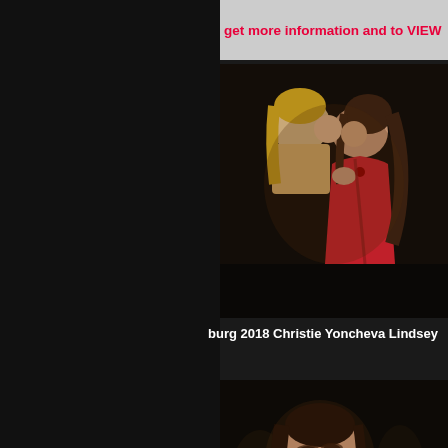get more information and to VIEW
[Figure (photo): Two women kissing, one in a red dress, in a dark theatrical stage setting]
burg 2018 Christie Yoncheva Lindsey
[Figure (photo): Close-up of a dark-haired woman with dramatic makeup looking upward, in a performance setting, with a reCAPTCHA privacy badge overlay]